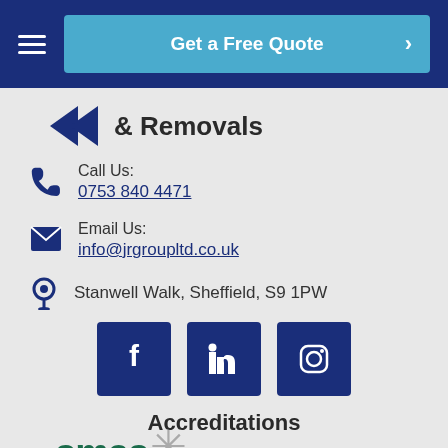Get a Free Quote
& Removals
Call Us:
0753 840 4471
Email Us:
info@jrgroupltd.co.uk
Stanwell Walk, Sheffield, S9 1PW
[Figure (other): Social media icons: Facebook, LinkedIn, Instagram on dark navy square buttons]
Accreditations
[Figure (logo): SMAS accreditation logo (partial) with asterisk symbol in grey]